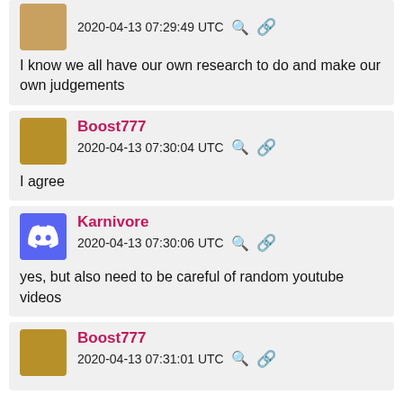2020-04-13 07:29:49 UTC
I know we all have our own research to do and make our own judgements
Boost777
2020-04-13 07:30:04 UTC
I agree
Karnivore
2020-04-13 07:30:06 UTC
yes, but also need to be careful of random youtube videos
Boost777
2020-04-13 07:31:01 UTC